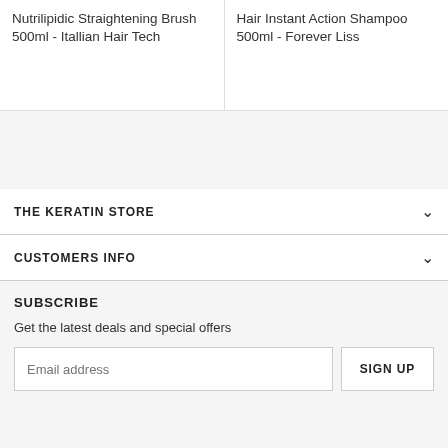Nutrilipidic Straightening Brush 500ml - Itallian Hair Tech
Hair Instant Action Shampoo 500ml - Forever Liss
THE KERATIN STORE
CUSTOMERS INFO
SUBSCRIBE
Get the latest deals and special offers
Email address
SIGN UP